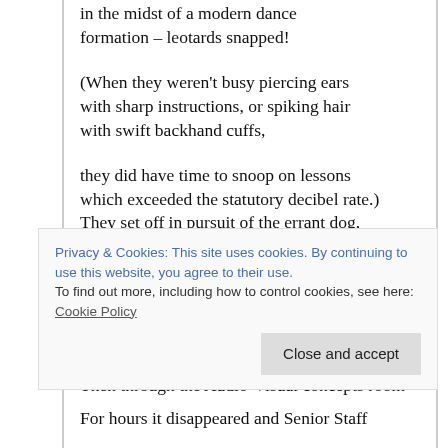in the midst of a modern dance formation – leotards snapped!
(When they weren't busy piercing ears with sharp instructions, or spiking hair with swift backhand cuffs,
they did have time to snoop on lessons which exceeded the statutory decibel rate.) They set off in pursuit of the errant dog,
skilfully hurdling its poop in the process. They chased it into Mathematics where it caused havoc by lifting a leg
45° towards the blackboard's right-angle. Then through the Audio-Visual concepts room
Privacy & Cookies: This site uses cookies. By continuing to use this website, you agree to their use. To find out more, including how to control cookies, see here: Cookie Policy
For hours it disappeared and Senior Staff